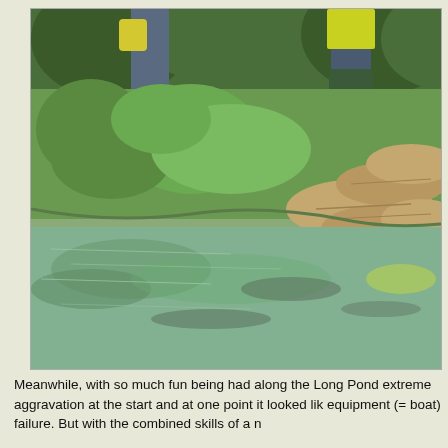[Figure (photo): Outdoor photo showing people standing near the edge of a flooded pond or waterway. Grass and vegetation are visible along the bank. Sandbags are piled on the right side. The water is greenish and reflective. People are wearing rubber boots and carrying yellow bags.]
Meanwhile, with so much fun being had along the Long Pond extreme aggravation at the start and at one point it looked lik equipment (= boat) failure. But with the combined skills of a n